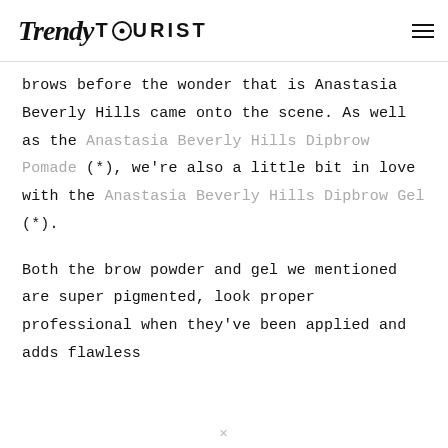Trendy TOURIST
brows before the wonder that is Anastasia Beverly Hills came onto the scene. As well as the Anastasia Beverly Hills Dipbrow Pomade (*), we're also a little bit in love with the Anastasia Beverly Hills Dipbrow Gel (*).
Both the brow powder and gel we mentioned are super pigmented, look proper professional when they've been applied and adds flawless